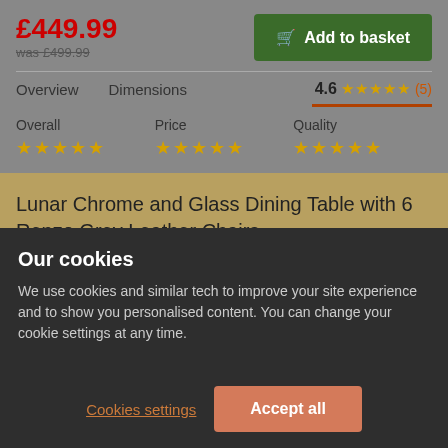£449.99
was £499.99
Add to basket
Overview
Dimensions
4.6 ★★★★★ (5)
Overall ★★★★★
Price ★★★★★
Quality ★★★★★
Lunar Chrome and Glass Dining Table with 6 Renzo Grey Leather Chairs
Our cookies
We use cookies and similar tech to improve your site experience and to show you personalised content. You can change your cookie settings at any time.
Cookies settings
Accept all